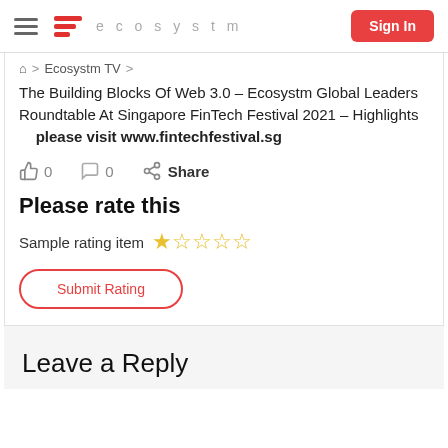ecosystm | Sign In
⌂ > Ecosystm TV >
The Building Blocks Of Web 3.0 – Ecosystm Global Leaders Roundtable At Singapore FinTech Festival 2021 – Highlights please visit www.fintechfestival.sg
👍 0   💬 0   Share
Please rate this
Sample rating item ☆☆☆☆☆
Submit Rating
Leave a Reply